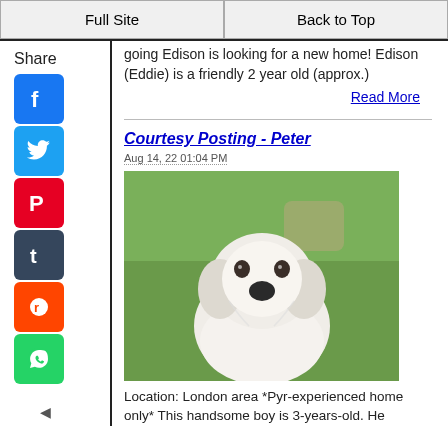Full Site | Back to Top
going Edison is looking for a new home! Edison (Eddie) is a friendly 2 year old (approx.)
Read More
Courtesy Posting - Peter
Aug 14, 22 01:04 PM
[Figure (photo): White Great Pyrenees dog sitting on green grass, looking at camera]
Location: London area *Pyr-experienced home only* This handsome boy is 3-years-old. He